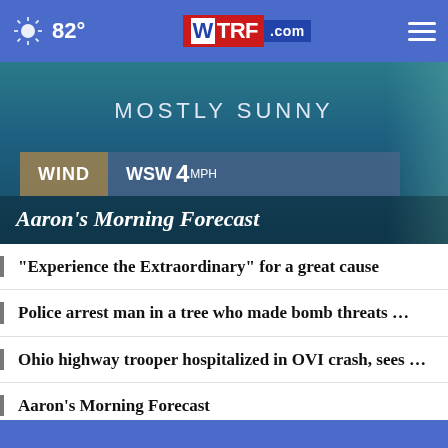82° WTRF.com
[Figure (screenshot): Weather forecast screenshot showing 'MOSTLY SUNNY', WIND: WSW 4MPH, with overlay title 'Aaron's Morning Forecast']
“Experience the Extraordinary” for a great cause
Police arrest man in a tree who made bomb threats …
Ohio highway trooper hospitalized in OVI crash, sees …
Aaron’s Morning Forecast